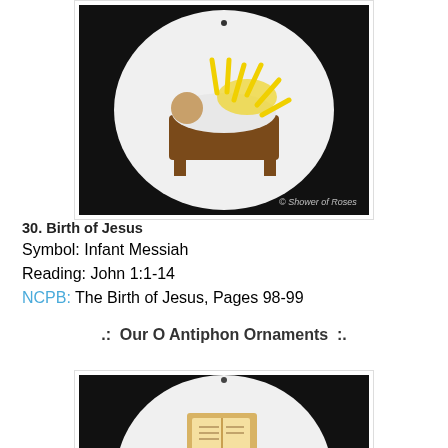[Figure (photo): Felt ornament in circular shape showing a manger/cradle with a baby, white felt background, yellow sun rays, on dark background. Watermark reads '© Shower of Roses'.]
30. Birth of Jesus
Symbol: Infant Messiah
Reading: John 1:1-14
NCPB: The Birth of Jesus, Pages 98-99
.:  Our O Antiphon Ornaments :.
[Figure (photo): Felt ornament in circular shape showing a bird or dove symbol on white felt circle, against dark background.]